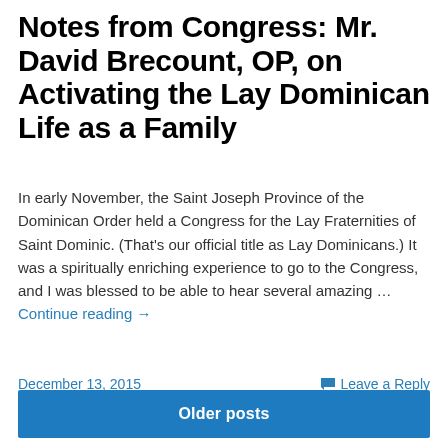Notes from Congress: Mr. David Brecount, OP, on Activating the Lay Dominican Life as a Family
In early November, the Saint Joseph Province of the Dominican Order held a Congress for the Lay Fraternities of Saint Dominic. (That's our official title as Lay Dominicans.) It was a spiritually enriching experience to go to the Congress, and I was blessed to be able to hear several amazing … Continue reading →
December 13, 2015
Leave a Reply
Older posts